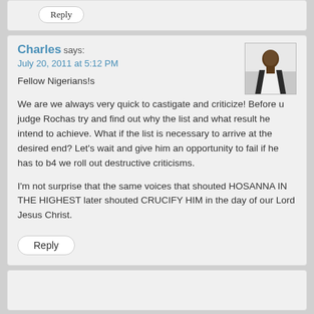Reply
Charles says:
July 20, 2011 at 5:12 PM
[Figure (photo): Avatar photo of Charles, a man in a white shirt]
Fellow Nigerians!s
We are we always very quick to castigate and criticize! Before u judge Rochas try and find out why the list and what result he intend to achieve. What if the list is necessary to arrive at the desired end? Let’s wait and give him an opportunity to fail if he has to b4 we roll out destructive criticisms.
I’m not surprise that the same voices that shouted HOSANNA IN THE HIGHEST later shouted CRUCIFY HIM in the day of our Lord Jesus Christ.
Reply